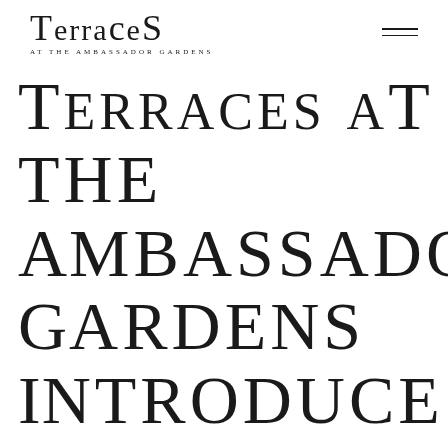TerraceS AT THE AMBASSADOR GARDENS
TERRACES AT THE AMBASSADOR GARDENS INTRODUCES EXCEPTIONAL NEW LUXURY HOMES IN PASADENA